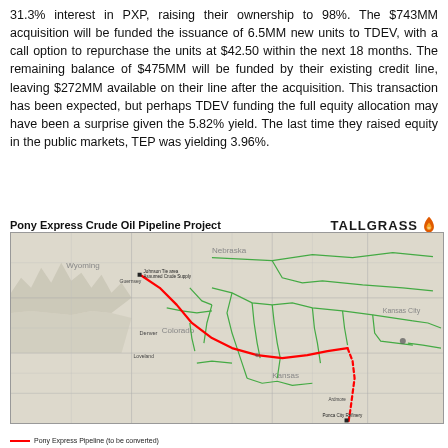31.3% interest in PXP, raising their ownership to 98%. The $743MM acquisition will be funded the issuance of 6.5MM new units to TDEV, with a call option to repurchase the units at $42.50 within the next 18 months. The remaining balance of $475MM will be funded by their existing credit line, leaving $272MM available on their line after the acquisition. This transaction has been expected, but perhaps TDEV funding the full equity allocation may have been a surprise given the 5.82% yield. The last time they raised equity in the public markets, TEP was yielding 3.96%.
Pony Express Crude Oil Pipeline Project
[Figure (map): Map showing the Pony Express Crude Oil Pipeline route from Wyoming through Colorado and Kansas to Ponca City Refinery in Oklahoma, with green lines showing existing pipeline network across Nebraska, Kansas, and surrounding states. A solid red line shows the completed pipeline segment and a dotted red line shows the segment to be constructed. The TALLGRASS logo appears in the top right.]